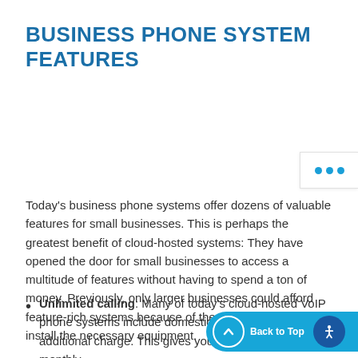BUSINESS PHONE SYSTEM FEATURES
Today's business phone systems offer dozens of valuable features for small businesses. This is perhaps the greatest benefit of cloud-hosted systems: They have opened the door for small businesses to access a multitude of features without having to spend a ton of money. Previously, only larger businesses could afford feature-rich systems because of the capital required to install the necessary equipment.
Unlimited calling: Many of today's cloud-hosted VoIP phone systems include domestic calling for no additional charge. This gives you a fixed cost for the monthly...